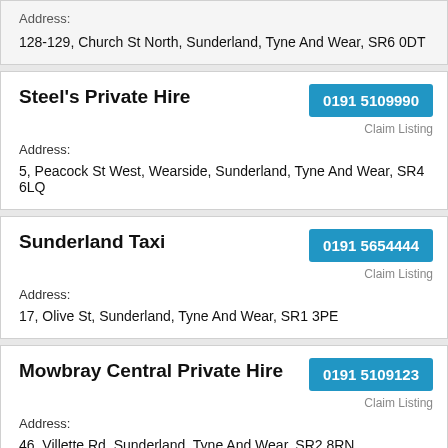Address:
128-129, Church St North, Sunderland, Tyne And Wear, SR6 0DT
Steel's Private Hire
0191 5109990
Claim Listing
Address:
5, Peacock St West, Wearside, Sunderland, Tyne And Wear, SR4 6LQ
Sunderland Taxi
0191 5654444
Claim Listing
Address:
17, Olive St, Sunderland, Tyne And Wear, SR1 3PE
Mowbray Central Private Hire
0191 5109123
Claim Listing
Address:
46, Villette Rd, Sunderland, Tyne And Wear, SR2 8RN